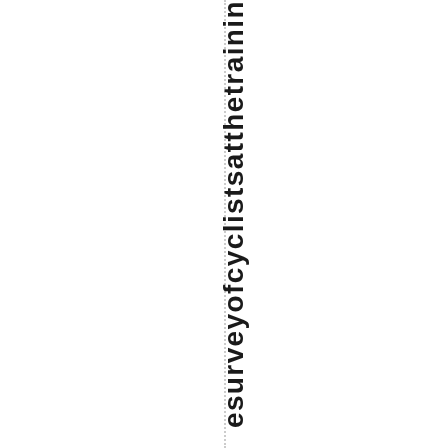esurvey of cyclists at the training